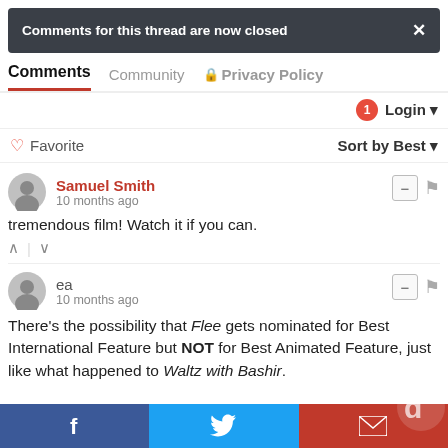Comments for this thread are now closed
Comments  Community  Privacy Policy
1  Login
♡ Favorite   Sort by Best
Samuel Smith
10 months ago
tremendous film! Watch it if you can.
ea
10 months ago
There's the possibility that Flee gets nominated for Best International Feature but NOT for Best Animated Feature, just like what happened to Waltz with Bashir.